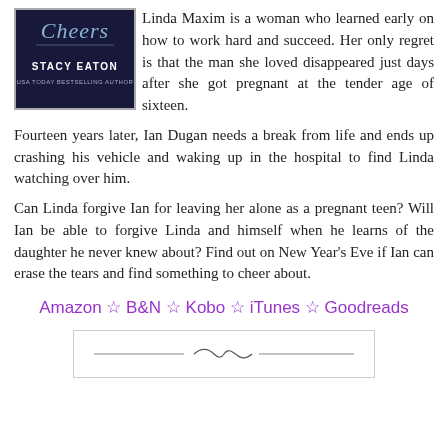[Figure (illustration): Book cover showing 'Cheers' by Stacy Eaton, USA Today Bestselling Author, dark background with decorative script title]
Linda Maxim is a woman who learned early on how to work hard and succeed. Her only regret is that the man she loved disappeared just days after she got pregnant at the tender age of sixteen.
Fourteen years later, Ian Dugan needs a break from life and ends up crashing his vehicle and waking up in the hospital to find Linda watching over him.
Can Linda forgive Ian for leaving her alone as a pregnant teen? Will Ian be able to forgive Linda and himself when he learns of the daughter he never knew about? Find out on New Year's Eve if Ian can erase the tears and find something to cheer about.
Amazon ☆ B&N ☆ Kobo ☆ iTunes ☆ Goodreads
[Figure (illustration): Decorative horizontal divider line with ornamental flourish in the center]